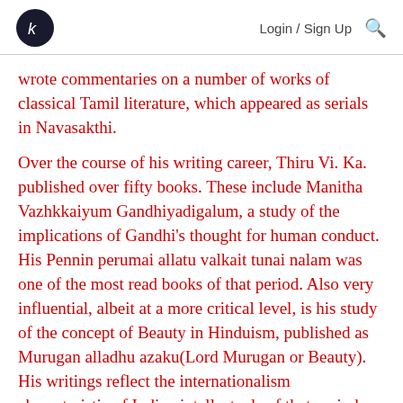Login / Sign Up
wrote commentaries on a number of works of classical Tamil literature, which appeared as serials in Navasakthi.
Over the course of his writing career, Thiru Vi. Ka. published over fifty books. These include Manitha Vazhkkaiyum Gandhiyadigalum, a study of the implications of Gandhi's thought for human conduct. His Pennin perumai allatu valkait tunai nalam was one of the most read books of that period. Also very influential, albeit at a more critical level, is his study of the concept of Beauty in Hinduism, published as Murugan alladhu azaku(Lord Murugan or Beauty). His writings reflect the internationalism characteristic of Indian intellectuals of that period, a strong pride in Indian and Tamil culture,